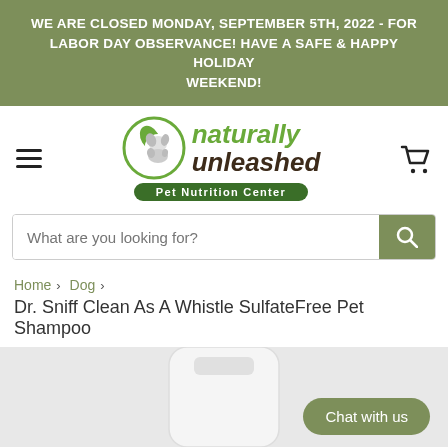WE ARE CLOSED MONDAY, SEPTEMBER 5TH, 2022 - FOR LABOR DAY OBSERVANCE! HAVE A SAFE & HAPPY HOLIDAY WEEKEND!
[Figure (logo): Naturally Unleashed Pet Nutrition Center logo with circular dog/cat icon and green wordmark]
What are you looking for?
Home › Dog › Dr. Sniff Clean As A Whistle SulfateFree Pet Shampoo
[Figure (photo): White plastic shampoo bottle partially visible at bottom of page with Chat with us button overlay]